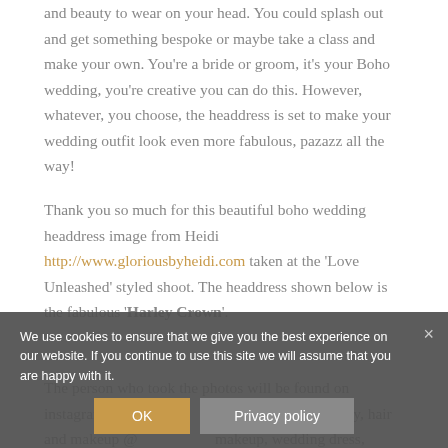and beauty to wear on your head. You could splash out and get something bespoke or maybe take a class and make your own. You're a bride or groom, it's your Boho wedding, you're creative you can do this. However, whatever, you choose, the headdress is set to make your wedding outfit look even more fabulous, pazazz all the way!
Thank you so much for this beautiful boho wedding headdress image from Heidi http://www.gloriousbyheidi.com taken at the 'Love Unleashed' styled shoot. The headdress shown below is the fabulous 'Harley Crown'.
The person who took the photos will be found on instagram – Photo @ ... zophotography, hair and makeup @ ... makeup, wedding dress, @Otaduy from @rockmyfrockcheshire, neon
We use cookies to ensure that we give you the best experience on our website. If you continue to use this site we will assume that you are happy with it.